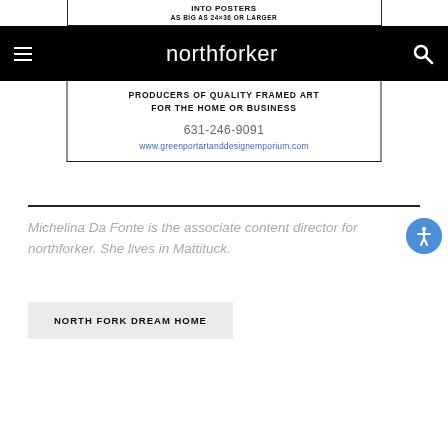[Figure (other): Top portion of advertisement for Greenport Art and Design Emporium, showing 'INTO POSTERS AS BIG AS 24x36 OR LARGER' text with partial image]
northforker
[Figure (other): Advertisement for Greenport Art and Design Emporium: 'PRODUCERS OF QUALITY FRAMED ART FOR THE HOME OR BUSINESS, 631-246-9091, www.greenportartanddesignemporium.com']
Michelina Da Fonte is the associate content director for northforker. She lives in Mattituck.
NORTH FORK DREAM HOME